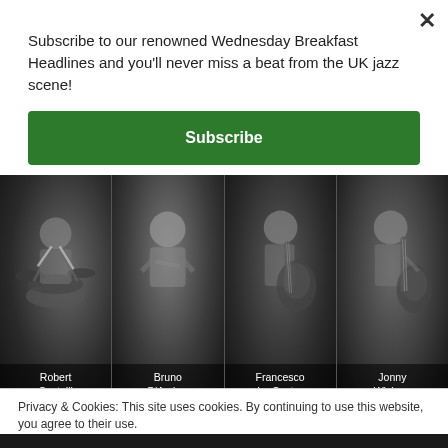Subscribe to our renowned Wednesday Breakfast Headlines and you'll never miss a beat from the UK jazz scene!
Subscribe
[Figure (photo): Black and white grid of four jazz musicians: Robert Castelli (drums), Bruno D'Ambra (piano), Francesco Lo Castro (guitar), Jonny Wickam (bass guitar)]
Privacy & Cookies: This site uses cookies. By continuing to use this website, you agree to their use.
To find out more, including how to control cookies, see here: Cookie Policy
Close and accept